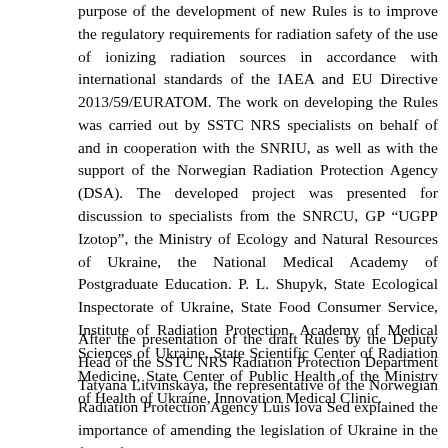purpose of the development of new Rules is to improve the regulatory requirements for radiation safety of the use of ionizing radiation sources in accordance with international standards of the IAEA and EU Directive 2013/59/EURATOM. The work on developing the Rules was carried out by SSTC NRS specialists on behalf of and in cooperation with the SNRIU, as well as with the support of the Norwegian Radiation Protection Agency (DSA). The developed project was presented for discussion to specialists from the SNRCU, GP “UGPP Izotop”, the Ministry of Ecology and Natural Resources of Ukraine, the National Medical Academy of Postgraduate Education. P. L. Shupyk, State Ecological Inspectorate of Ukraine, State Food Consumer Service, Institute of Radiation Protection, Academy of Medical Sciences of Ukraine, State Scientific Center of Radiation Medicine, State Center of Public Health of the Ministry of Health of Ukraine, Innovation Medical Clinic.
After the presentation of the draft Rules by the Deputy Head of the SSTC NRS Radiation Protection Department Tatyana Litvinskaya, the representative of the Norwegian Radiation Protection Agency Luis Iova Sed explained the importance of amending the legislation of Ukraine in the field of radiation